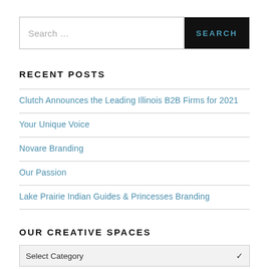[Figure (other): Search bar with text input placeholder 'Search ...' and black SEARCH button]
RECENT POSTS
Clutch Announces the Leading Illinois B2B Firms for 2021
Your Unique Voice
Novare Branding
Our Passion
Lake Prairie Indian Guides & Princesses Branding
OUR CREATIVE SPACES
[Figure (other): Dropdown select box with 'Select Category' placeholder and chevron]